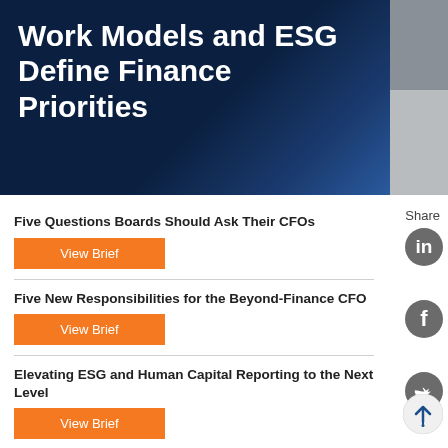[Figure (illustration): Dark blue gradient banner with bold white text: Work Models and ESG Define Finance Priorities]
Work Models and ESG Define Finance Priorities
Share
Five Questions Boards Should Ask Their CFOs
View Brief
Five New Responsibilities for the Beyond-Finance CFO
View Brief
Elevating ESG and Human Capital Reporting to the Next Level
View Brief